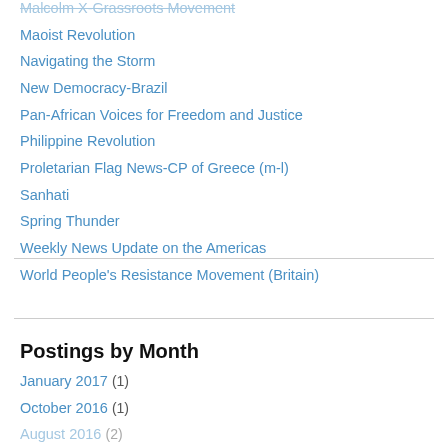Malcolm X-Grassroots Movement
Maoist Revolution
Navigating the Storm
New Democracy-Brazil
Pan-African Voices for Freedom and Justice
Philippine Revolution
Proletarian Flag News-CP of Greece (m-l)
Sanhati
Spring Thunder
Weekly News Update on the Americas
World People's Resistance Movement (Britain)
Postings by Month
January 2017 (1)
October 2016 (1)
August 2016 (2)